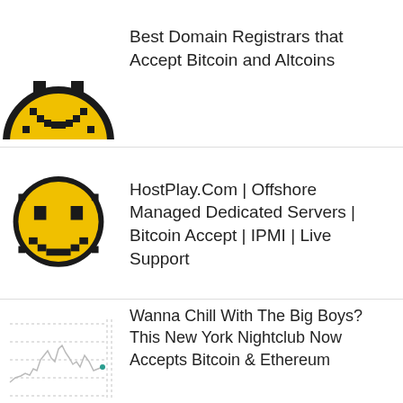[Figure (illustration): Pixelated yellow smiley face emoji, cropped at top, partially visible]
Best Domain Registrars that Accept Bitcoin and Altcoins
[Figure (illustration): Pixelated yellow smiley face emoji, full circle, black eyes and smile on yellow background]
HostPlay.Com | Offshore Managed Dedicated Servers | Bitcoin Accept | IPMI | Live Support
[Figure (line-chart): Small line chart thumbnail showing fluctuating price/value line]
Wanna Chill With The Big Boys? This New York Nightclub Now Accepts Bitcoin & Ethereum
[Figure (photo): Partial thumbnail photo, bottom of page, cut off]